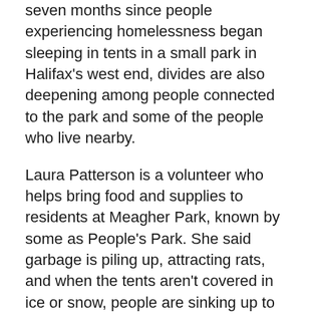seven months since people experiencing homelessness began sleeping in tents in a small park in Halifax's west end, divides are also deepening among people connected to the park and some of the people who live nearby.
Laura Patterson is a volunteer who helps bring food and supplies to residents at Meagher Park, known by some as People's Park. She said garbage is piling up, attracting rats, and when the tents aren't covered in ice or snow, people are sinking up to their ankles in the mud.
"As neighbours would tell you, it can be a loud place," Patterson told CBC Radio's Mainstreet recently. "The level of sleep deprivation at the park, I think, is huge. It's not a place where people can heal. It's not a place where people can regroup. It's a stop-gap."